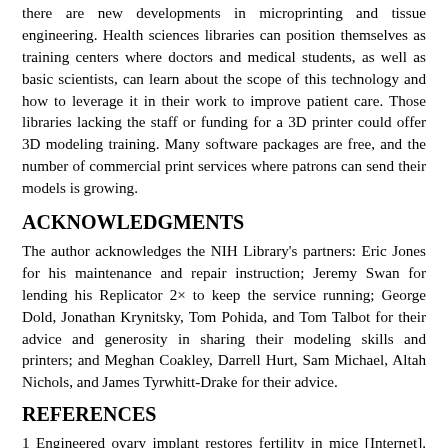there are new developments in microprinting and tissue engineering. Health sciences libraries can position themselves as training centers where doctors and medical students, as well as basic scientists, can learn about the scope of this technology and how to leverage it in their work to improve patient care. Those libraries lacking the staff or funding for a 3D printer could offer 3D modeling training. Many software packages are free, and the number of commercial print services where patrons can send their models is growing.
ACKNOWLEDGMENTS
The author acknowledges the NIH Library's partners: Eric Jones for his maintenance and repair instruction; Jeremy Swan for lending his Replicator 2× to keep the service running; George Dold, Jonathan Krynitsky, Tom Pohida, and Tom Talbot for their advice and generosity in sharing their modeling skills and printers; and Meghan Coakley, Darrell Hurt, Sam Michael, Altah Nichols, and James Tyrwhitt-Drake for their advice.
REFERENCES
1 Engineered ovary implant restores fertility in mice [Internet]. Endocrine Society; 2016 Apr [cited 1 Jun 2016]. <https://www.endocrine.org/news-room/current-press